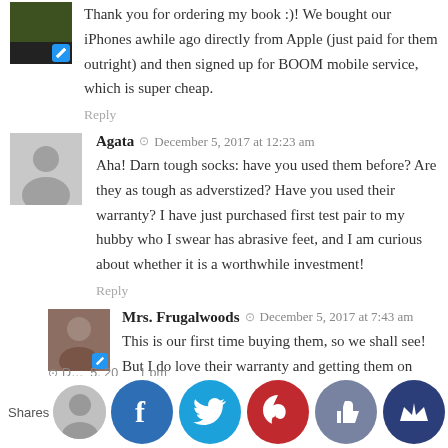Thank you for ordering my book :)! We bought our iPhones awhile ago directly from Apple (just paid for them outright) and then signed up for BOOM mobile service, which is super cheap.
Reply
Agata · December 5, 2017 at 12:23 am
Aha! Darn tough socks: have you used them before? Are they as tough as adverstized? Have you used their warranty? I have just purchased first test pair to my hubby who I swear has abrasive feet, and I am curious about whether it is a worthwhile investment!
Reply
Mrs. Frugalwoods · December 5, 2017 at 7:43 am
This is our first time buying them, so we shall see! But I do love their warranty and getting them on sale made it all the more reasonable. I hope they work well for you :)!
Reply
Shares